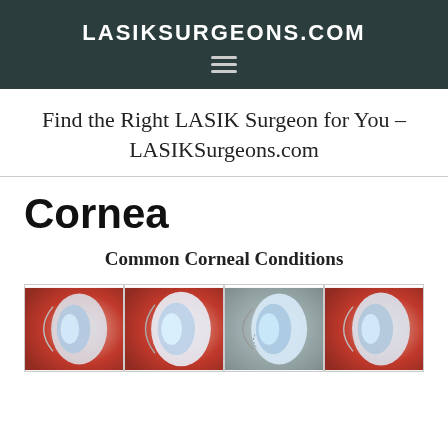LASIKSURGEONS.COM
Find the Right LASIK Surgeon for You - LASIKSurgeons.com
Cornea
Common Corneal Conditions
[Figure (illustration): Four side-by-side medical illustrations of the human eye/cornea showing different corneal conditions. Each image shows a cross-sectional view of the eye with red, white, and blue/grey tones.]